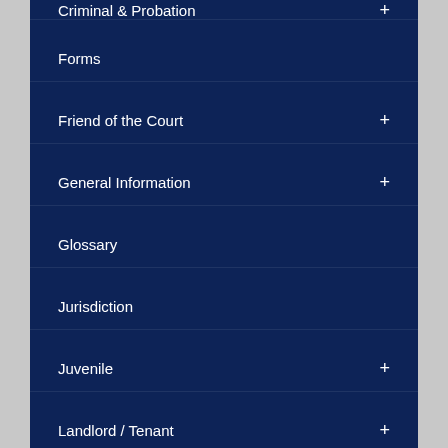Criminal & Probation +
Forms
Friend of the Court +
General Information +
Glossary
Jurisdiction
Juvenile +
Landlord / Tenant +
Payments